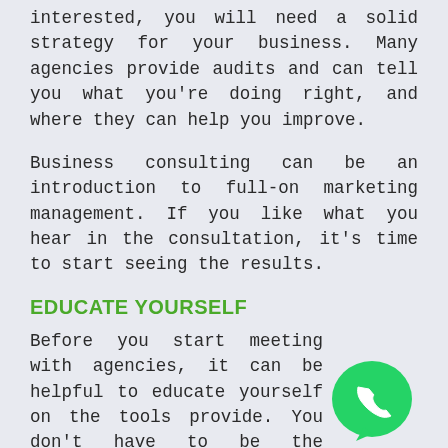interested, you will need a solid strategy for your business. Many agencies provide audits and can tell you what you're doing right, and where they can help you improve.
Business consulting can be an introduction to full-on marketing management. If you like what you hear in the consultation, it's time to start seeing the results.
EDUCATE YOURSELF
Before you start meeting with agencies, it can be helpful to educate yourself on the tools provide. You don't have to be the expert, it's job to answer your questions.
However, understanding the basics of search engine optimization and digital marketing will better prepare you to choose a perfect fit for your